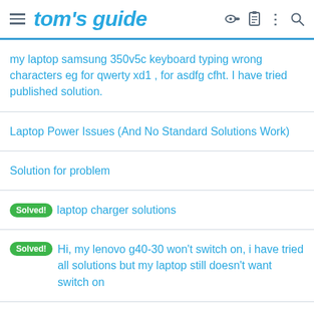tom's guide
my laptop samsung 350v5c keyboard typing wrong characters eg for qwerty xd1 , for asdfg cfht. I have tried published solution.
Laptop Power Issues (And No Standard Solutions Work)
Solution for problem
[Solved!] laptop charger solutions
[Solved!] Hi, my lenovo g40-30 won't switch on, i have tried all solutions but my laptop still doesn't want switch on
My HP pavilion dv-4 1430 screen went black. Give me solution.